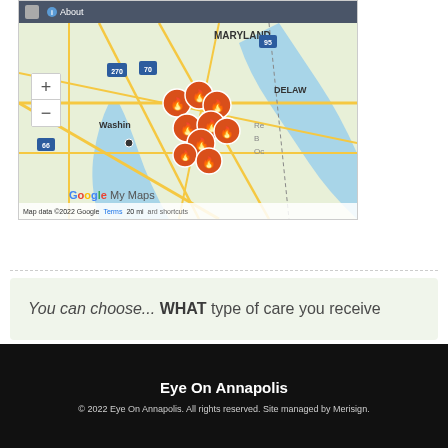[Figure (map): Google My Maps screenshot showing the Washington DC / Maryland / Delaware area with multiple clustered orange fire-pin markers near the DC/Maryland border. Map shows roads, water bodies, and region labels. Includes zoom controls (+/-), map credit 'Map data ©2022 Google', Terms link, and '20 mi' scale bar.]
You can choose... WHAT type of care you receive
Eye On Annapolis
© 2022 Eye On Annapolis. All rights reserved. Site managed by Merisign.